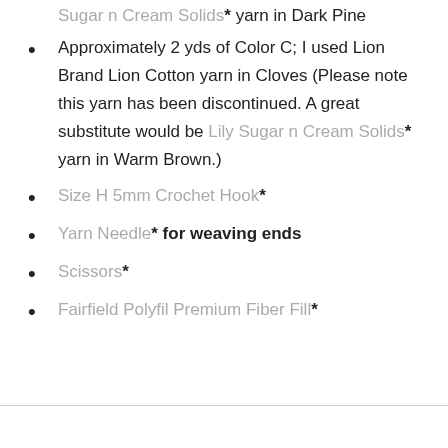Approximately 11 yds of Color B; I used Lily Sugar n Cream Solids* yarn in Dark Pine
Approximately 2 yds of Color C; I used Lion Brand Lion Cotton yarn in Cloves (Please note this yarn has been discontinued. A great substitute would be Lily Sugar n Cream Solids* yarn in Warm Brown.)
Size H 5mm Crochet Hook*
Yarn Needle* for weaving ends
Scissors*
Fairfield Polyfil Premium Fiber Fill*